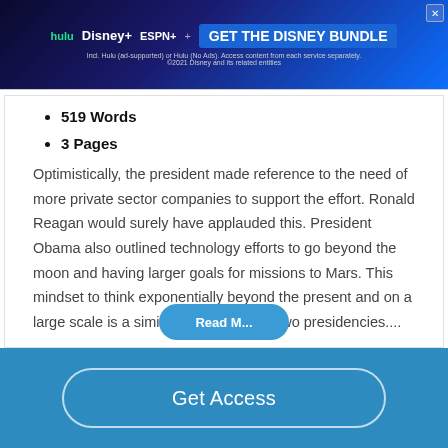[Figure (screenshot): Disney Bundle advertisement banner with Hulu, Disney+, ESPN+ logos and 'GET THE DISNEY BUNDLE' call to action]
519 Words
3 Pages
Optimistically, the president made reference to the need of more private sector companies to support the effort. Ronald Reagan would surely have applauded this. President Obama also outlined technology efforts to go beyond the moon and having larger goals for missions to Mars. This mindset to think exponentially beyond the present and on a large scale is a similarity between the two presidencies....
[Figure (screenshot): Partially visible 'Read More' button in blue, and a 'Get Access' button on a blue bottom bar]